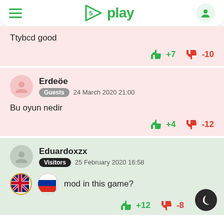5play
Ttybcd good
+7  -10
Erdeöe  Guests  24 March 2020 21:00
Bu oyun nedir
+4  -12
Eduardoxzx  Visitors  25 February 2020 16:58
mod in this game?
+12  -8